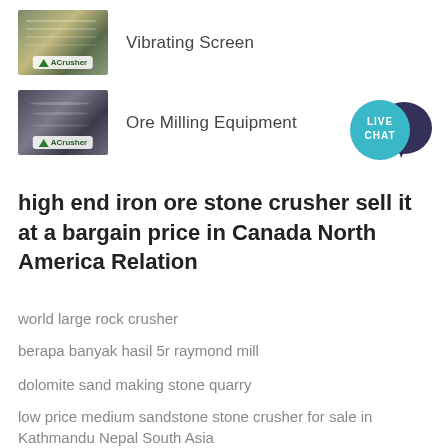[Figure (photo): Thumbnail image of a Vibrating Screen machine with ACrusher logo]
Vibrating Screen
[Figure (photo): Thumbnail image of Ore Milling Equipment with ACrusher logo]
Ore Milling Equipment
[Figure (illustration): Live Chat button with teal circle and dark speech bubble icon]
high end iron ore stone crusher sell it at a bargain price in Canada North America Relation
world large rock crusher
berapa banyak hasil 5r raymond mill
dolomite sand making stone quarry
low price medium sandstone stone crusher for sale in Kathmandu Nepal South Asia